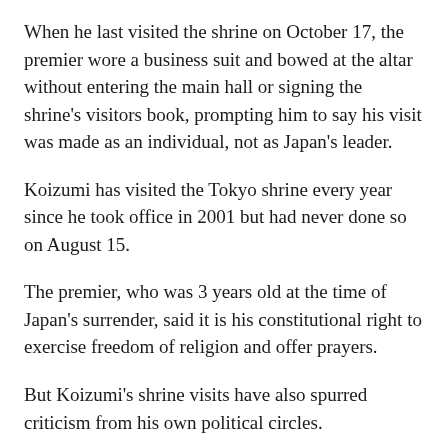When he last visited the shrine on October 17, the premier wore a business suit and bowed at the altar without entering the main hall or signing the shrine's visitors book, prompting him to say his visit was made as an individual, not as Japan's leader.
Koizumi has visited the Tokyo shrine every year since he took office in 2001 but had never done so on August 15.
The premier, who was 3 years old at the time of Japan's surrender, said it is his constitutional right to exercise freedom of religion and offer prayers.
But Koizumi's shrine visits have also spurred criticism from his own political circles.
The leader of the New Komeito party, the coalition partner for Koizumi's ruling Liberal Democrats, expressed strong regret